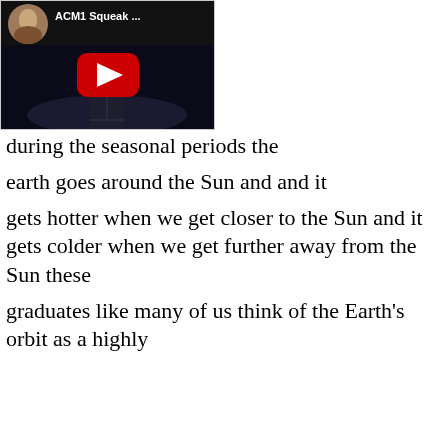[Figure (screenshot): YouTube video thumbnail showing a person speaking at a podium, with a circular avatar in top-left and title 'ACM1 Squeak ...' displayed. A red play button is centered on the black video frame.]
during the seasonal periods the
earth goes around the Sun and and it
gets hotter when we get closer to the Sun and it gets colder when we get further away from the Sun these
graduates like many of us think of the Earth's orbit as a highly